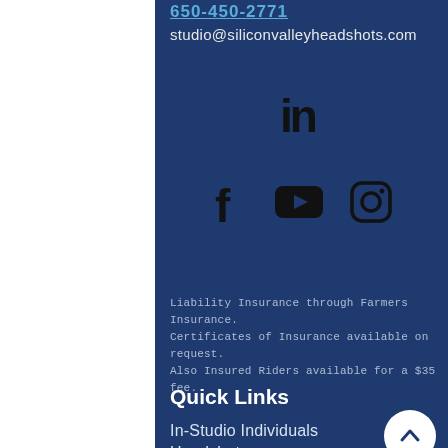650-450-2771
studio@siliconvalleyheadshots.com
[Figure (illustration): LinkedIn logo icon (in) in black]
[Figure (illustration): Social media icons row: Facebook (f), YouTube (play button), Instagram (camera) — all black]
Liability Insurance through Farmers Insurance. Certificates of Insurance available on request. Also Insured Riders available for a $35 fee.
Quick Links
In-Studio Individuals Headshots
Award-Winning Interior Design Photography
Privacy Policy